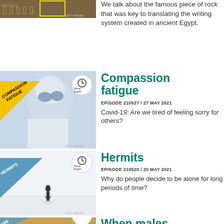[Figure (photo): Partial thumbnail showing Egyptian hieroglyphics background with yellow highlighted stone, GETTY IMAGES watermark]
We talk about the famous piece of rock that was key to translating the writing system created in ancient Egypt.
[Figure (photo): Thumbnail for Compassion fatigue episode showing healthcare worker in PPE, yellow diagonal banner reading COMPASSION FATIGUE, Minute English badge]
Compassion fatigue
EPISODE 210527 / 27 MAY 2021
Covid-19: Are we tired of feeling sorry for others?
[Figure (photo): Thumbnail for Hermits episode showing lone figure in white snowy landscape, blue diagonal banner reading HERMITS, Minute English badge, GETTY IMAGES watermark]
Hermits
EPISODE 210520 / 20 MAY 2021
Why do people decide to be alone for long periods of time?
[Figure (photo): Partial thumbnail at bottom showing food item and partial text ARE, Minute English badge partially visible]
When males